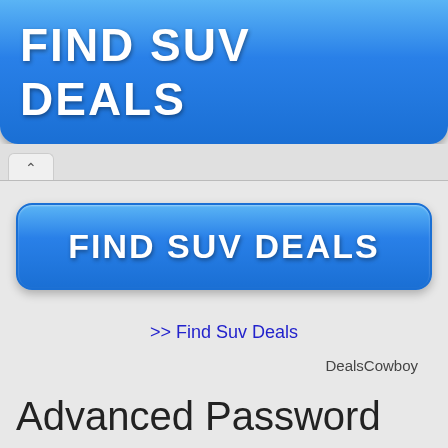[Figure (screenshot): Blue banner button with white bold text 'FIND SUV DEALS']
[Figure (screenshot): Browser tab/toolbar area with up-arrow collapse tab]
[Figure (screenshot): Blue rounded button with white bold text 'FIND SUV DEALS']
>> Find Suv Deals
DealsCowboy
Advanced Password